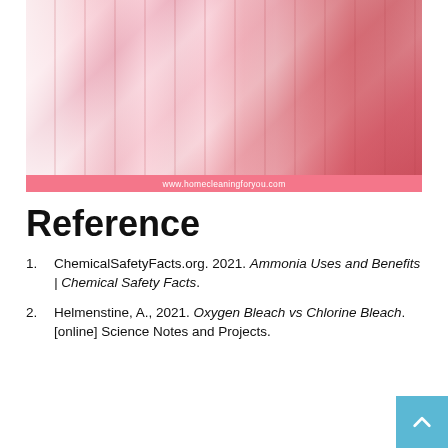[Figure (photo): Photo of colorful clothes hanging on a rack, ranging from white lace to pink and deep red garments, with a pink background. Website URL shown at bottom: www.homecleaningforyou.com]
www.homecleaningforyou.com
Reference
ChemicalSafetyFacts.org. 2021. Ammonia Uses and Benefits | Chemical Safety Facts.
Helmenstine, A., 2021. Oxygen Bleach vs Chlorine Bleach. [online] Science Notes and Projects.